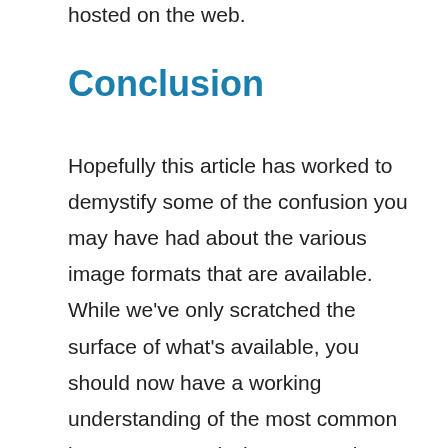hosted on the web.
Conclusion
Hopefully this article has worked to demystify some of the confusion you may have had about the various image formats that are available. While we've only scratched the surface of what's available, you should now have a working understanding of the most common image types and when to use them. Having this much of a grasp on the subject will be enough in most cases, although you'll still